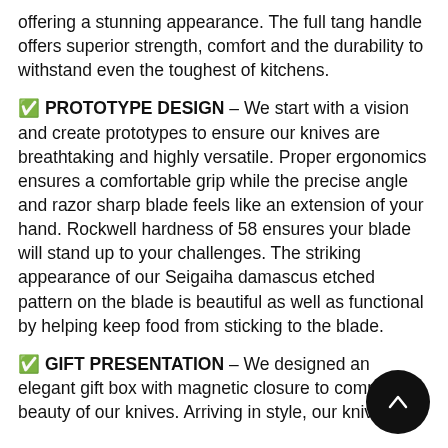offering a stunning appearance. The full tang handle offers superior strength, comfort and the durability to withstand even the toughest of kitchens.
✅ PROTOTYPE DESIGN – We start with a vision and create prototypes to ensure our knives are breathtaking and highly versatile. Proper ergonomics ensures a comfortable grip while the precise angle and razor sharp blade feels like an extension of your hand. Rockwell hardness of 58 ensures your blade will stand up to your challenges. The striking appearance of our Seigaiha damascus etched pattern on the blade is beautiful as well as functional by helping keep food from sticking to the blade.
✅ GIFT PRESENTATION – We designed an elegant gift box with magnetic closure to complement the beauty of our knives. Arriving in style, our knives will delight as a cherished gift for friends and kitchen enthusiasts alike.